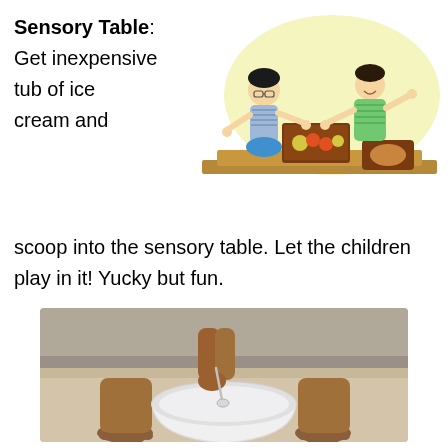Sensory Table: Get inexpensive tub of ice cream and scoop into the sensory table. Let the children play in it! Yucky but fun.
[Figure (illustration): Two children playing at a sensory table with boxes and items on it, illustrated in cartoon style]
[Figure (photo): Person scooping from a large white bowl placed on floor between their feet]